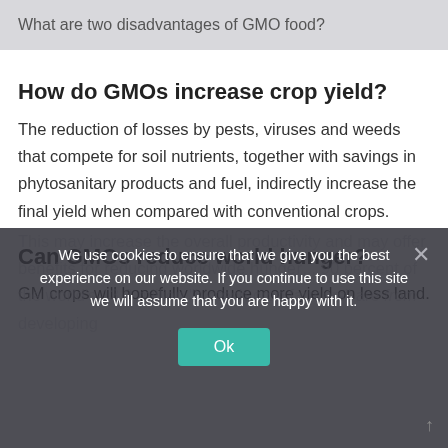What are two disadvantages of GMO food?
How do GMOs increase crop yield?
The reduction of losses by pests, viruses and weeds that compete for soil nutrients, together with savings in phytosanitary products and fuel, indirectly increase the final yield when compared with conventional crops.
Can GMOs reduce world hunger?
GM crops will hopefully produce more yield on less land. This may increase the overall productivity and may offer benefits for reducing worldwide hunger... 90 percent of the world's 13.3 million "biotech crop farmers" are from developing
We use cookies to ensure that we give you the best experience on our website. If you continue to use this site we will assume that you are happy with it.